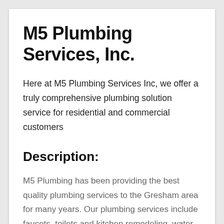M5 Plumbing Services, Inc.
Here at M5 Plumbing Services Inc, we offer a truly comprehensive plumbing solution service for residential and commercial customers
Description:
M5 Plumbing has been providing the best quality plumbing services to the Gresham area for many years. Our plumbing services include faucets, toilets and kitchen remodeling, water softeners and sewer lines, bathroom remodeling and bathtubs and showers. We also offer drain pipes, backflow prevention and drain cleaning, sump pumps and pipe